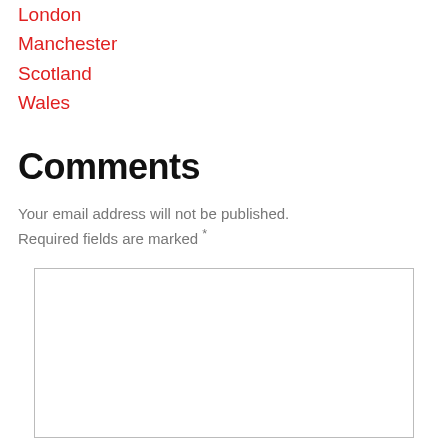London
Manchester
Scotland
Wales
Comments
Your email address will not be published. Required fields are marked *